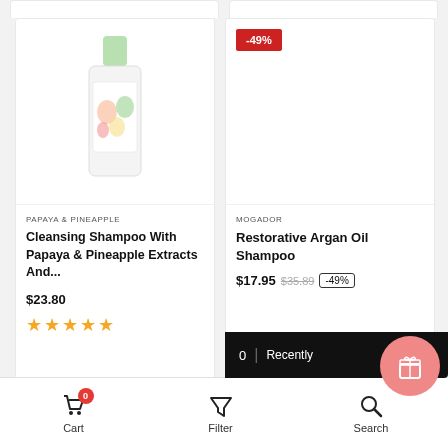[Figure (screenshot): E-commerce product listing page showing two shampoo products side by side]
PAPAYA & PINEAPPLE
Cleansing Shampoo With Papaya & Pineapple Extracts And...
$23.80
MOGADOR
Restorative Argan Oil Shampoo
$17.95  $35.89  -49%
-49%
0  |  Recently
Cart   Filter   Search